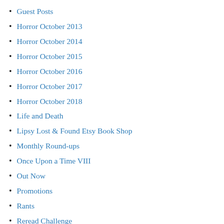Guest Posts
Horror October 2013
Horror October 2014
Horror October 2015
Horror October 2016
Horror October 2017
Horror October 2018
Life and Death
Lipsy Lost & Found Etsy Book Shop
Monthly Round-ups
Once Upon a Time VIII
Out Now
Promotions
Rants
Reread Challenge
Review Round-Ups